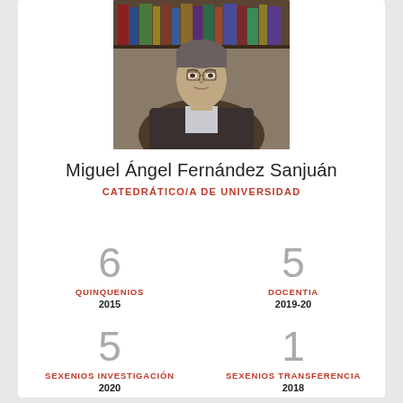[Figure (photo): Portrait photo of Miguel Ángel Fernández Sanjuán seated in front of bookshelves, wearing a dark jacket]
Miguel Ángel Fernández Sanjuán
CATEDRÁTICO/A DE UNIVERSIDAD
6
QUINQUENIOS
2015
5
DOCENTIA
2019-20
5
SEXENIOS INVESTIGACIÓN
2020
1
SEXENIOS TRANSFERENCIA
2018